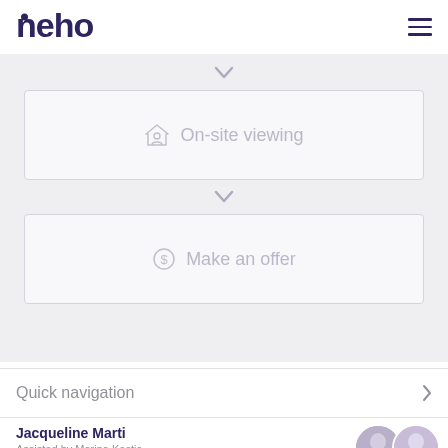[Figure (logo): Neho logo in dark purple]
[Figure (infographic): Gray section with two step boxes: 'On-site viewing' and 'Make an offer' separated by chevron/down-arrow icons]
On-site viewing
Make an offer
Quick navigation
Jacqueline Marti
Assisted by Marina Kostic